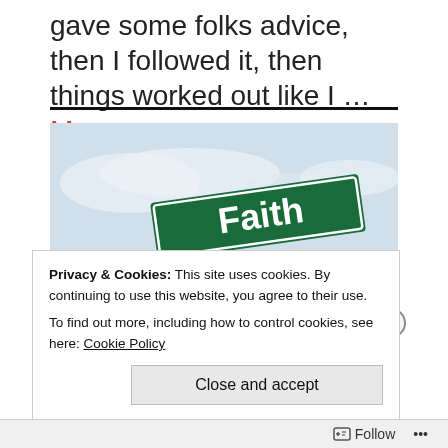gave some folks advice, then I followed it, then things worked out like I … More
[Figure (photo): Street signs reading 'Faith' and 'Politics' crossed at an intersection, against a pale blue sky background]
Privacy & Cookies: This site uses cookies. By continuing to use this website, you agree to their use.
To find out more, including how to control cookies, see here: Cookie Policy
Close and accept
Follow ...